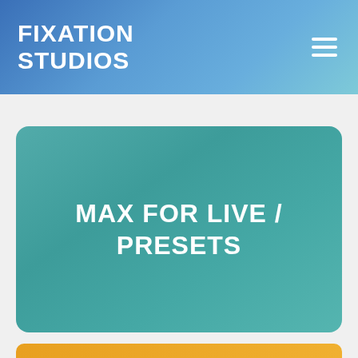FIXATION STUDIOS
MAX FOR LIVE / PRESETS